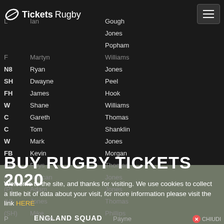[Figure (logo): TicketsRugby logo with rugby ball icon and text]
L   Ian   Gough
Jones
Popham
F   Martyn   Williams
N8  Ryan   Jones
SH  Dwayne   Peel
FH  James   Hook
W   Shane   Williams
C   Gareth   Thomas
C   Tom   Shanklin
W   Mark   Jones
FB  Kevin   Morgan
(H) Rhys   Thomas
(P) Duncan   Jones
(P) Adam   Jones
(H) Jones   Thomas
(SH) Mike   Phillips
BUY RUGBY TICKETS 2020
Welcome to the site, and thanks for visiting. We use cookies to collect a little bit of data about your visit, for more information please visit the link HERE
ENGLAND SQUAD
P   Tim   Payne